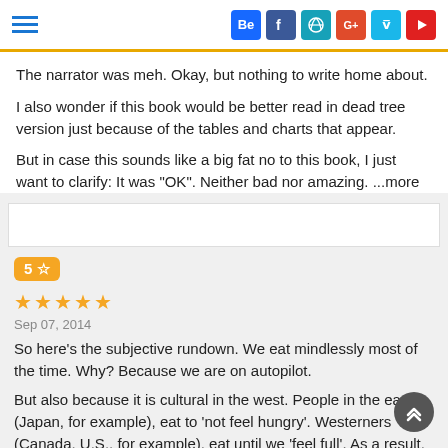Social icons and hamburger menu
The narrator was meh. Okay, but nothing to write home about.
I also wonder if this book would be better read in dead tree version just because of the tables and charts that appear.
But in case this sounds like a big fat no to this book, I just want to clarify: It was "OK". Neither bad nor amazing. ...more
5 ☆ rating badge
Sep 07, 2014
So here's the subjective rundown. We eat mindlessly most of the time. Why? Because we are on autopilot.
But also because it is cultural in the west. People in the east (Japan, for example), eat to 'not feel hungry'. Westerners (Canada, U.S., for example), eat until we 'feel full'. As a result,